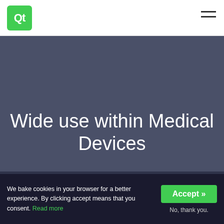[Figure (logo): Qt logo — white 'Qt' text on green rounded square background]
[Figure (other): Hamburger menu icon — two horizontal dark lines]
[Figure (photo): Dark blue-grey hero background image for medical devices page]
Wide use within Medical Devices
Whether you are developing FDA or EU Class II or Class III products such as surgical robots, infusion pumps, patient monitoring systems
We bake cookies in your browser for a better experience. By clicking accept means that you consent. Read more